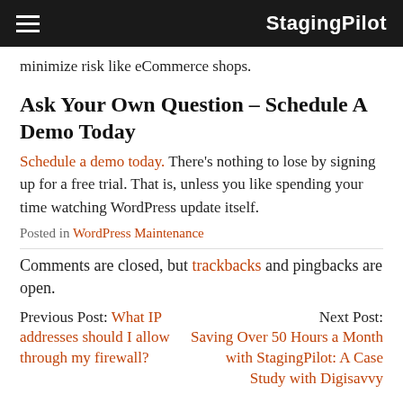StagingPilot
minimize risk like eCommerce shops.
Ask Your Own Question – Schedule A Demo Today
Schedule a demo today. There's nothing to lose by signing up for a free trial. That is, unless you like spending your time watching WordPress update itself.
Posted in WordPress Maintenance
Comments are closed, but trackbacks and pingbacks are open.
Previous Post: What IP addresses should I allow through my firewall?
Next Post: Saving Over 50 Hours a Month with StagingPilot: A Case Study with Digisavvy